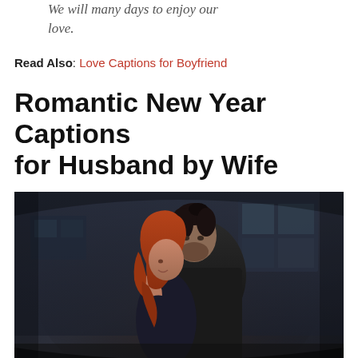We will many days to enjoy our love.
Read Also: Love Captions for Boyfriend
Romantic New Year Captions for Husband by Wife
[Figure (photo): A couple embracing in a dark, moody outdoor setting. A man with dark hair is holding a woman with red/auburn hair from behind. Both appear in dark clothing.]